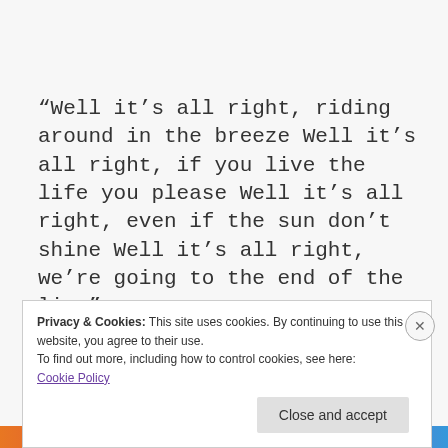“Well it’s all right, riding around in the breeze Well it’s all right, if you live the life you please Well it’s all right, even if the sun don’t shine Well it’s all right, we’re going to the end of the line”
I hope you make time to ride around in the
Privacy & Cookies: This site uses cookies. By continuing to use this website, you agree to their use.
To find out more, including how to control cookies, see here:
Cookie Policy
Close and accept